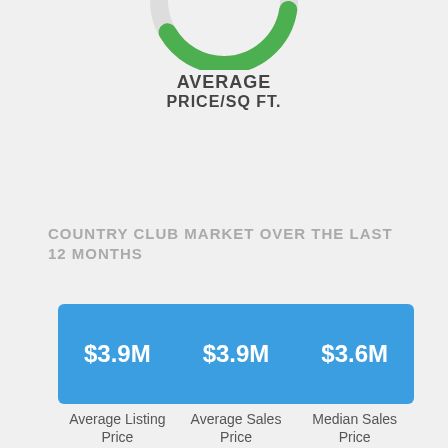[Figure (donut-chart): Partial donut chart with green arc and gray background ring, cut off at top of page]
AVERAGE PRICE/SQ FT.
COUNTRY CLUB MARKET OVER THE LAST 12 MONTHS
[Figure (infographic): Country Club Market Over the Last 12 Months]
[Figure (infographic): ]